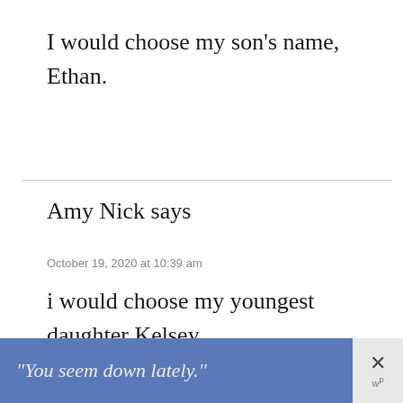I would choose my son's name, Ethan.
Amy Nick says
October 19, 2020 at 10:39 am
i would choose my youngest daughter Kelsey
[Figure (screenshot): Blue advertisement banner with italic text "You seem down lately." and an X close button with a W logo]